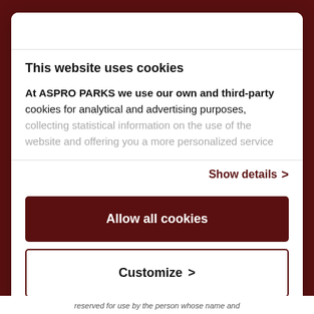This website uses cookies
At ASPRO PARKS we use our own and third-party cookies for analytical and advertising purposes, collecting statistical information on the use of the website and offering you a more personalized service
Show details >
Allow all cookies
Customize >
Powered by Cookiebot by Usercentrics
reserved for use by the person whose name and